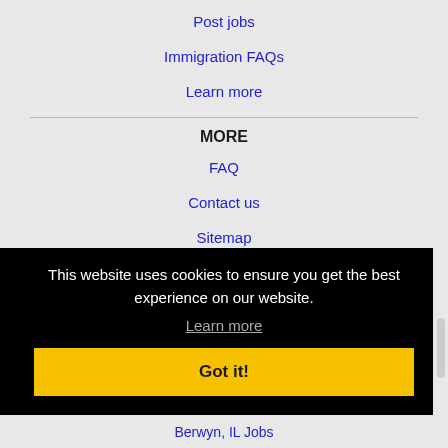Post jobs
Immigration FAQs
Learn more
MORE
FAQ
Contact us
Sitemap
This website uses cookies to ensure you get the best experience on our website.
Learn more
Got it!
Berwyn, IL Jobs